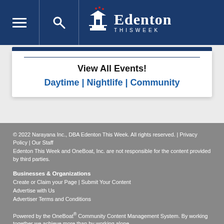Edenton This Week
View All Events!
Daytime | Nightlife | Community
© 2022 Narayana Inc., DBA Edenton This Week. All rights reserved. | Privacy Policy | Our Staff
Edenton This Week and OneBoat, Inc. are not responsible for the content provided by third parties.

Businesses & Organizations
Create or Claim your Page | Submit Your Content
Advertise with Us
Advertiser Terms and Conditions

Powered by the OneBoat® Community Content Management System. By working together we achieve more than by working alone.